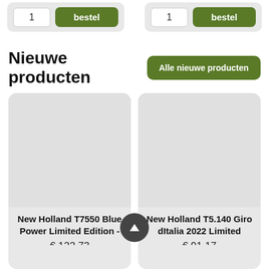[Figure (screenshot): Two order widgets with quantity input field showing '1' and a green 'bestel' button each, side by side on a light gray background]
Nieuwe producten
[Figure (other): Green button labeled 'Alle nieuwe producten']
[Figure (other): Product card for New Holland T7550 Blue Power Limited Edition with image placeholder and price € 122,73]
[Figure (other): Product card for New Holland T5.140 Giro dItalia 2022 Limited with image placeholder and price € 91,17]
[Figure (other): Scroll-to-top dark circular button with upward triangle arrow]
[Figure (other): Two partial product card placeholders at bottom of page]